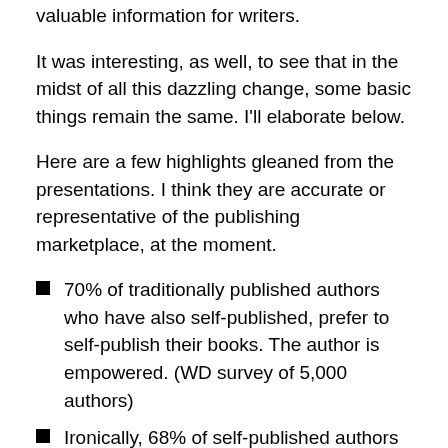valuable information for writers.
It was interesting, as well, to see that in the midst of all this dazzling change, some basic things remain the same. I'll elaborate below.
Here are a few highlights gleaned from the presentations. I think they are accurate or representative of the publishing marketplace, at the moment.
70% of traditionally published authors who have also self-published, prefer to self-publish their books. The author is empowered. (WD survey of 5,000 authors)
Ironically, 68% of self-published authors still want to be traditionally published, a lingering “prestige” factor. (WD survey)
A new category of “hybrid authors” is emerging, those who combine self-publishing and traditional publishing